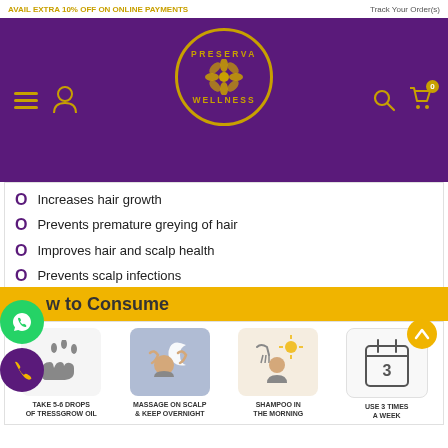AVAIL EXTRA 10% OFF ON ONLINE PAYMENTS | Track Your Order(s)
[Figure (logo): Preserva Wellness circular logo with flower motif in gold on purple background]
Increases hair growth
Prevents premature greying of hair
Improves hair and scalp health
Prevents scalp infections
Cures dandruff, flaking and other forms of dermatitis
How to Consume
[Figure (infographic): Four step usage instructions: 1. Take 5-6 drops of Tressgrow Oil (hand with drops icon), 2. Massage on scalp & keep overnight (head massage icon on blue background), 3. Shampoo in the morning (shower icon on cream background), 4. Use 3 times a week (calendar with number 3 icon)]
TAKE 5-6 DROPS OF TRESSGROW OIL | MASSAGE ON SCALP & KEEP OVERNIGHT | SHAMPOO IN THE MORNING | USE 3 TIMES A WEEK